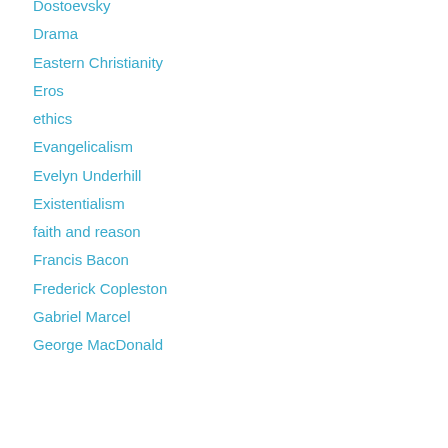Dostoevsky
Drama
Eastern Christianity
Eros
ethics
Evangelicalism
Evelyn Underhill
Existentialism
faith and reason
Francis Bacon
Frederick Copleston
Gabriel Marcel
George MacDonald